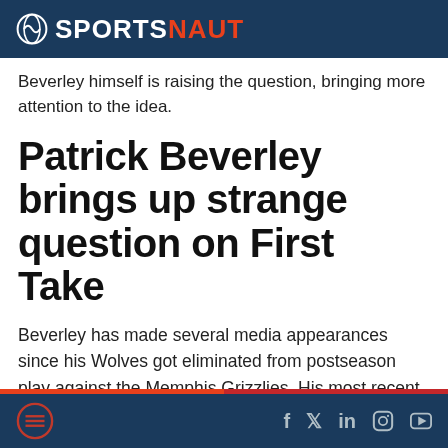SPORTSNAUT
Beverley himself is raising the question, bringing more attention to the idea.
Patrick Beverley brings up strange question on First Take
Beverley has made several media appearances since his Wolves got eliminated from postseason play against the Memphis Grizzlies. His most recent showing came via ESPN's First Take, in which Jason
SPORTSNAUT social icons: f, twitter, in, instagram, youtube